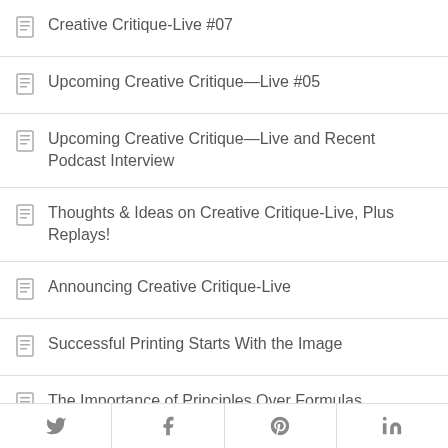Creative Critique-Live #07
Upcoming Creative Critique—Live #05
Upcoming Creative Critique—Live and Recent Podcast Interview
Thoughts & Ideas on Creative Critique-Live, Plus Replays!
Announcing Creative Critique-Live
Successful Printing Starts With the Image
The Importance of Principles Over Formulas
Twitter  Facebook  Pinterest  LinkedIn